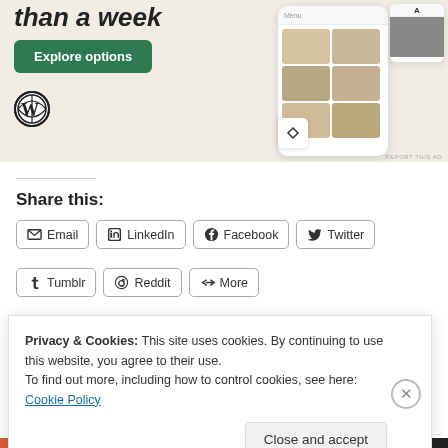[Figure (screenshot): WordPress.com advertisement banner showing food app interface with 'Explore options' green button and WordPress logo]
Share this:
Email | LinkedIn | Facebook | Twitter | Tumblr | Reddit | More
Privacy & Cookies: This site uses cookies. By continuing to use this website, you agree to their use.
To find out more, including how to control cookies, see here: Cookie Policy
Close and accept